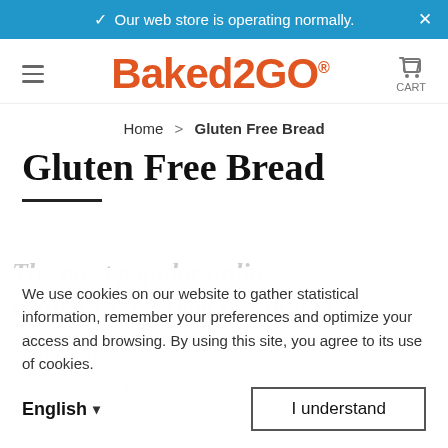Our web store is operating normally.
[Figure (logo): Baked2GO logo in orange/red text with cart icon and hamburger menu]
Home > Gluten Free Bread
Gluten Free Bread
The most popular online Gluten Free Bread in Canada ... Ontario and Québec ... regularly our fabulous gluten free
We use cookies on our website to gather statistical information, remember your preferences and optimize your access and browsing. By using this site, you agree to its use of cookies.
English  I understand